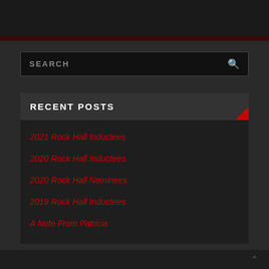[Figure (screenshot): Dark website sidebar screenshot with search box, Recent Posts widget header with red corner accent, and list of red linked posts on dark background]
SEARCH
RECENT POSTS
2021 Rock Hall Inductees
2020 Rock Hall Inductees
2020 Rock Hall Nominees
2019 Rock Hall Inductees
A Note From Patricia